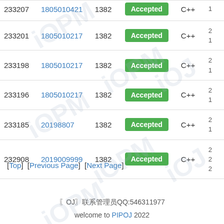| ID | User | Problem | Status | Lang | Info |
| --- | --- | --- | --- | --- | --- |
| 233207 | 1805010421 | 1382 | Accepted | C++ |  |
| 233201 | 1805010217 | 1382 | Accepted | C++ |  |
| 233198 | 1805010217 | 1382 | Accepted | C++ |  |
| 233196 | 1805010217 | 1382 | Accepted | C++ |  |
| 233185 | 20198807 | 1382 | Accepted | C++ |  |
| 232908 | 2019009999 | 1382 | Accepted | C++ |  |
[Top]  [Previous Page]  [Next Page]
〖OJ〗联系管理员QQ:546311977
welcome to PIPOJ 2022